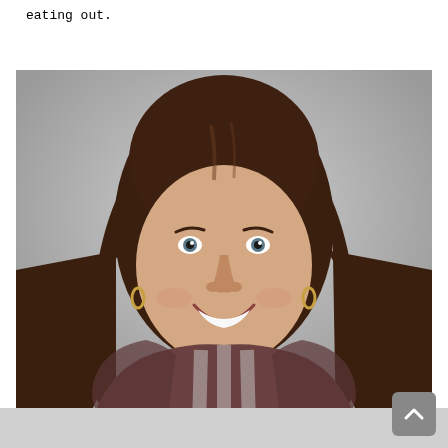eating out.
[Figure (photo): Professional headshot of a young woman with long brown wavy hair, smiling broadly, wearing a striped brown and white mesh top, gold hoop earrings, against a light gray background.]
[Figure (other): Partially visible gray bar at the bottom of the page, likely a footer or next section preview. A scroll-to-top button with an upward chevron arrow is visible in the bottom-right corner.]